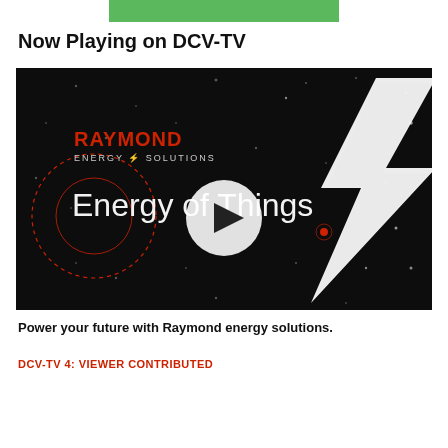[Figure (other): Green banner/advertisement strip at the top of the page]
Now Playing on DCV-TV
[Figure (screenshot): Video thumbnail for Raymond Energy Solutions 'Energy of Things' video on DCV-TV. Dark background with star-like particles, red circle outline, a large white lightning bolt on the right side, RAYMOND ENERGY SOLUTIONS logo top-left in red and white text, 'Energy of Things' text in large white letters, and a white circular play button in the center.]
Power your future with Raymond energy solutions.
DCV-TV 4: VIEWER CONTRIBUTED